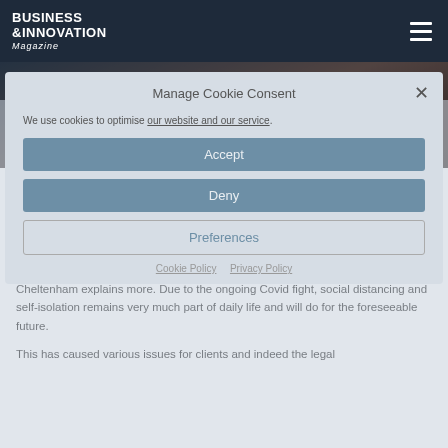BUSINESS & INNOVATION Magazine
[Figure (photo): Background photo of a person, partially visible behind cookie consent modal]
Manage Cookie Consent
We use cookies to optimise our website and our service.
Accept
Deny
Preferences
Cookie Policy  Privacy Policy
Temporary legislation is being enacted to amend s9 of the Wills Act 1837 by way of s8 of the Electronic Communications Act to provide that the witnessing of Wills may take place via video conferencing facilities. This should come into force on 28th September 2020.
Jess Beddows, Partner in the Private Client team at BPE Solicitors in Cheltenham explains more. Due to the ongoing Covid fight, social distancing and self-isolation remains very much part of daily life and will do for the foreseeable future.
This has caused various issues for clients and indeed the legal